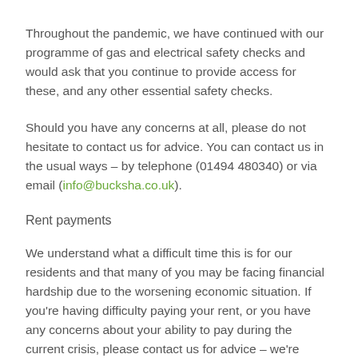Throughout the pandemic, we have continued with our programme of gas and electrical safety checks and would ask that you continue to provide access for these, and any other essential safety checks.
Should you have any concerns at all, please do not hesitate to contact us for advice. You can contact us in the usual ways – by telephone (01494 480340) or via email (info@bucksha.co.uk).
Rent payments
We understand what a difficult time this is for our residents and that many of you may be facing financial hardship due to the worsening economic situation. If you're having difficulty paying your rent, or you have any concerns about your ability to pay during the current crisis, please contact us for advice – we're